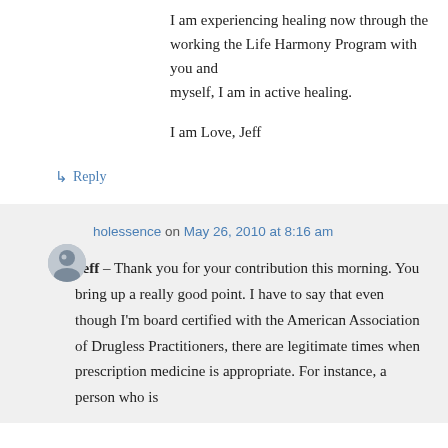I am experiencing healing now through the working the Life Harmony Program with you and myself, I am in active healing.

I am Love, Jeff
↳ Reply
holessence on May 26, 2010 at 8:16 am
Jeff – Thank you for your contribution this morning. You bring up a really good point. I have to say that even though I'm board certified with the American Association of Drugless Practitioners, there are legitimate times when prescription medicine is appropriate. For instance, a person who is